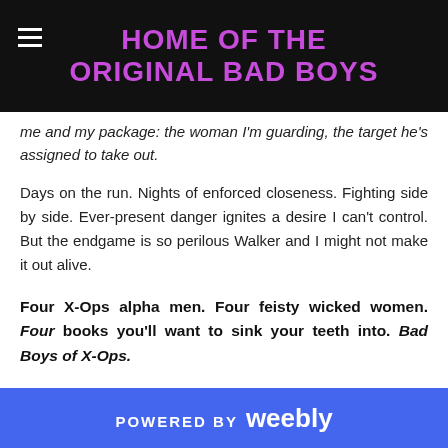HOME OF THE ORIGINAL BAD BOYS
me and my package: the woman I'm guarding, the target he's assigned to take out.
Days on the run. Nights of enforced closeness. Fighting side by side. Ever-present danger ignites a desire I can't control. But the endgame is so perilous Walker and I might not make it out alive.
Four X-Ops alpha men. Four feisty wicked women. Four books you'll want to sink your teeth into. Bad Boys of X-Ops.
Back to back, spring/summer 2016!:
Walker
Justice
POWERED BY weebly